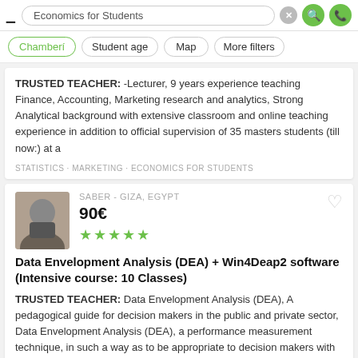Economics for Students
Chamberí
Student age
Map
More filters
TRUSTED TEACHER: -Lecturer, 9 years experience teaching Finance, Accounting, Marketing research and analytics, Strong Analytical background with extensive classroom and online teaching experience in addition to official supervision of 35 masters students (till now:) at a
STATISTICS · MARKETING · ECONOMICS FOR STUDENTS
SABER - GIZA, EGYPT
90€
Data Envelopment Analysis (DEA) + Win4Deap2 software (Intensive course: 10 Classes)
TRUSTED TEACHER: Data Envelopment Analysis (DEA), A pedagogical guide for decision makers in the public and private sector, Data Envelopment Analysis (DEA), a performance measurement technique, in such a way as to be appropriate to decision makers with little or no
BUSINESS ADMINISTRATION · ECONOMICS FOR STUDENTS · BUSINESS
ENGIN - ISTANBUL, TURKEY